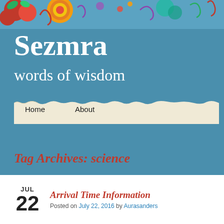[Figure (illustration): Colorful decorative banner at top with mandala/floral patterns in red, yellow, green, blue colors]
Sezmra
words of wisdom
[Figure (illustration): Torn paper/parchment strip used as navigation bar background with Home and About links]
Tag Archives: science
JUL 22
Arrival Time Information
Posted on July 22, 2016 by Aurasanders